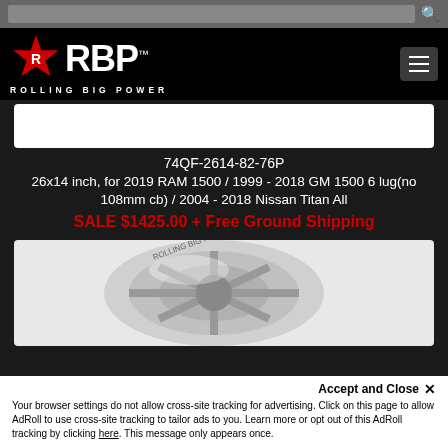[Figure (screenshot): Search bar with gray background and search icon]
[Figure (logo): RBP Rolling Big Power logo with red star and white text on black background]
[Figure (photo): Partial white product image (wheel) cropped at top]
74QF-2614-82-76P
26x14 inch, for 2019 RAM 1500 / 1999 - 2018 GM 1500 6 lug(no 108mm cb) / 2004 - 2018 Nissan Titan All
SALE $1425.00 + Free Ground Shipping
[Figure (photo): Chrome/silver wheel product photo showing wheel face and lettering, partially visible]
Accept and Close ✕
Your browser settings do not allow cross-site tracking for advertising. Click on this page to allow AdRoll to use cross-site tracking to tailor ads to you. Learn more or opt out of this AdRoll tracking by clicking here. This message only appears once.